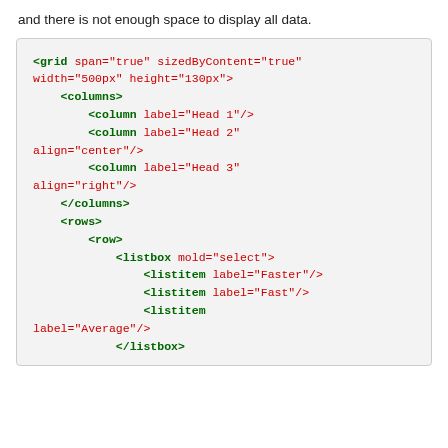and there is not enough space to display all data.
<grid span="true" sizedByContent="true" width="500px" height="130px">
    <columns>
        <column label="Head 1"/>
        <column label="Head 2" align="center"/>
        <column label="Head 3" align="right"/>
    </columns>
    <rows>
        <row>
            <listbox mold="select">
                <listitem label="Faster"/>
                <listitem label="Fast"/>
                <listitem
label="Average"/>
            </listbox>